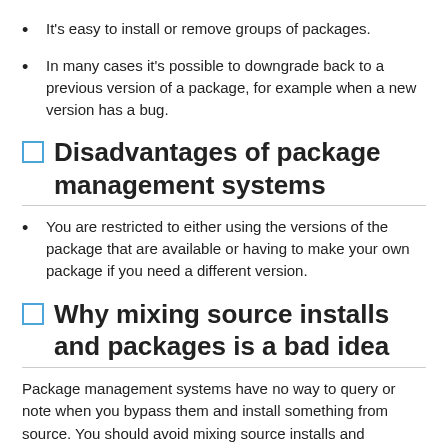It's easy to install or remove groups of packages.
In many cases it's possible to downgrade back to a previous version of a package, for example when a new version has a bug.
Disadvantages of package management systems
You are restricted to either using the versions of the package that are available or having to make your own package if you need a different version.
Why mixing source installs and packages is a bad idea
Package management systems have no way to query or note when you bypass them and install something from source. You should avoid mixing source installs and packaged installs for (at least) the following reasons: